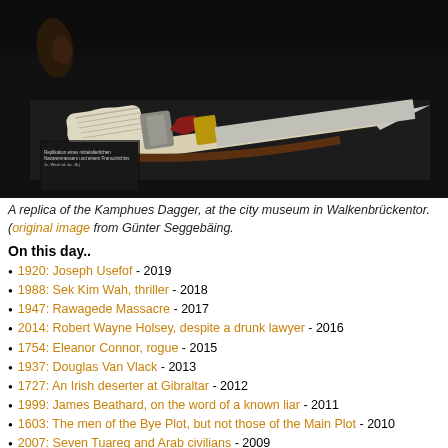[Figure (photo): A photo of a replica of the Kamphues Dagger displayed in a museum case at the city museum in Walkenbrückentor. The dagger has an ornate ivory/white carved handle with a metallic guard and blade, displayed on a dark background.]
A replica of the Kamphues Dagger, at the city museum in Walkenbrückentor. (original image from Günter Seggebäing.
On this day..
1920: Joseph Usefof - 2019
1988: Sek Kim Wah, thriller - 2018
1947: Rawagede Massacre - 2017
2014: Robert Wayne Holsey, despite a drunk lawyer - 2016
1754: Eleanor Connor, rogue - 2015
1937: Douglas Van Vlack - 2013
1727: An Irish deserter at Gibraltar - 2012
1999: James Beathard, on the word of a known liar - 2011
1603: The men of the Bye Plot, but not those of the Main Plot - 2010
2007: Seven Tuareg and Arab civilians - 2009
1783: The first hangings at Newgate Prison - 2008